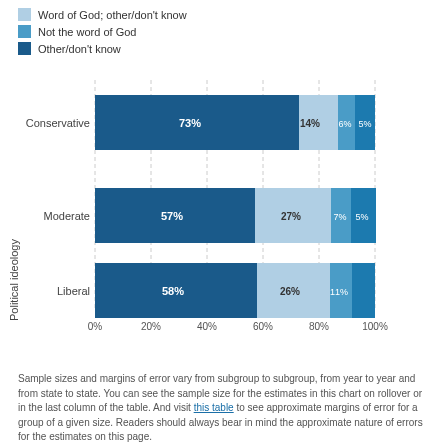[Figure (stacked-bar-chart): ]
Sample sizes and margins of error vary from subgroup to subgroup, from year to year and from state to state. You can see the sample size for the estimates in this chart on rollover or in the last column of the table. And visit this table to see approximate margins of error for a group of a given size. Readers should always bear in mind the approximate nature of errors for the estimates on this page.